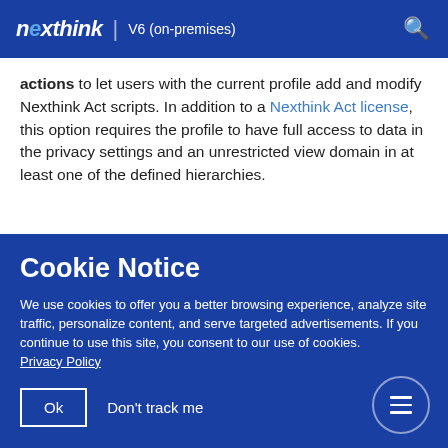nexthink | V6 (on-premises)
actions to let users with the current profile add and modify Nexthink Act scripts. In addition to a Nexthink Act license, this option requires the profile to have full access to data in the privacy settings and an unrestricted view domain in at least one of the defined hierarchies.
Cookie Notice
We use cookies to offer you a better browsing experience, analyze site traffic, personalize content, and serve targeted advertisements. If you continue to use this site, you consent to our use of cookies.
Privacy Policy
Ok   Don't track me